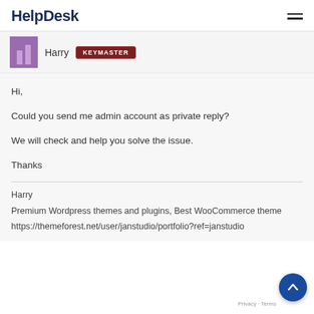HelpDesk
[Figure (other): User avatar (purple square with two vertical bars) next to username 'Harry' and a dark red 'KEYMASTER' badge]
Hi,

Could you send me admin account as private reply?

We will check and help you solve the issue.

Thanks
Harry
Premium Wordpress themes and plugins, Best WooCommerce theme
https://themeforest.net/user/janstudio/portfolio?ref=janstudio